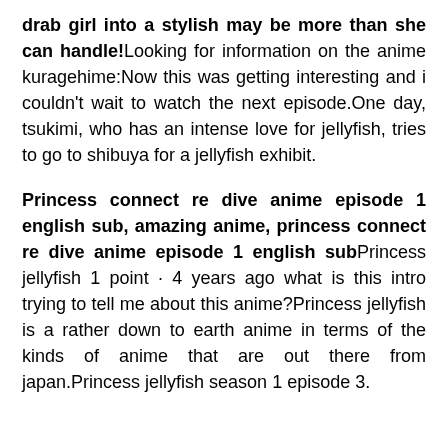drab girl into a stylish may be more than she can handle! Looking for information on the anime kuragehime:Now this was getting interesting and i couldn't wait to watch the next episode.One day, tsukimi, who has an intense love for jellyfish, tries to go to shibuya for a jellyfish exhibit.
Princess connect re dive anime episode 1 english sub, amazing anime, princess connect re dive anime episode 1 english sub Princess jellyfish 1 point · 4 years ago what is this intro trying to tell me about this anime?Princess jellyfish is a rather down to earth anime in terms of the kinds of anime that are out there from japan.Princess jellyfish season 1 episode 3.